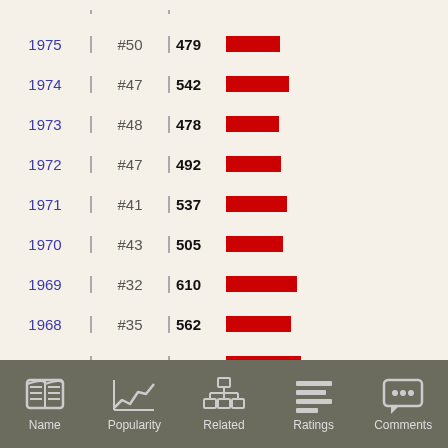| Year | Rank | Value | Bar |
| --- | --- | --- | --- |
| 1975 | #50 | 479 |  |
| 1974 | #47 | 542 |  |
| 1973 | #48 | 478 |  |
| 1972 | #47 | 492 |  |
| 1971 | #41 | 537 |  |
| 1970 | #43 | 505 |  |
| 1969 | #32 | 610 |  |
| 1968 | #35 | 562 |  |
| 1967 | #31 | 648 |  |
| 1966 | #29 | 707 |  |
| 1965 | #25 | 835 |  |
| 1964 | #20 | 1014 |  |
[Figure (infographic): Bottom navigation bar with 5 icons: Name (book), Popularity (line chart), Related (org chart), Ratings (list/bars), Comments (speech bubble)]